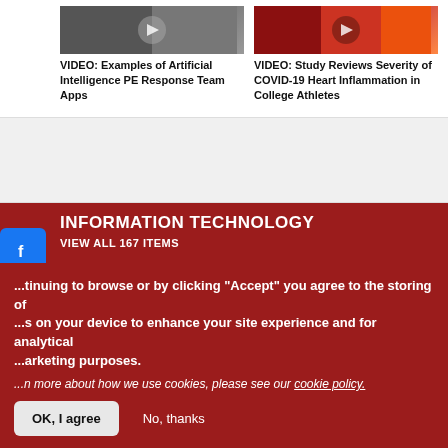VIDEO: Examples of Artificial Intelligence PE Response Team Apps
VIDEO: Study Reviews Severity of COVID-19 Heart Inflammation in College Athletes
INFORMATION TECHNOLOGY
VIEW ALL 167 ITEMS
CARDIAC IMAGING | FEBRUARY 01, 2022
NUCLEAR IMAGING | FEBRUARY 01, 2022
By continuing to browse or by clicking "Accept" you agree to the storing of cookies on your device to enhance your site experience and for analytical and marketing purposes.
To learn more about how we use cookies, please see our cookie policy.